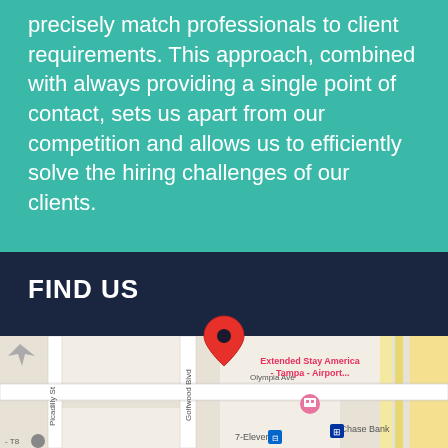precisely match professionals to client requirements. This approach, combined with always providing a single point of contact, sets us apart from our competition and allows us to efficiently solve the hiring challenges of our clients.
FIND US
[Figure (map): Google Maps screenshot showing area near Tampa Airport with location pin. Visible landmarks: Extended Stay America - Tampa - Airport, Chase Bank, 7-Eleven, Olympia Ave, Golfwood Blvd, Picadilly St.]